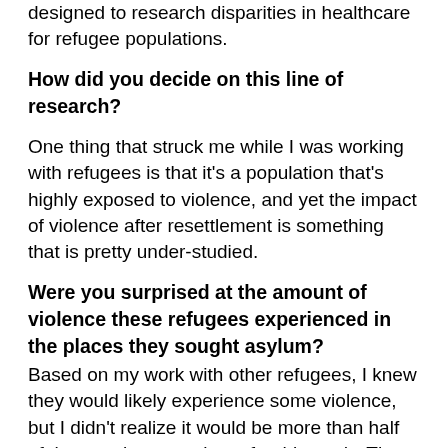designed to research disparities in healthcare for refugee populations.
How did you decide on this line of research?
One thing that struck me while I was working with refugees is that it's a population that's highly exposed to violence, and yet the impact of violence after resettlement is something that is pretty under-studied.
Were you surprised at the amount of violence these refugees experienced in the places they sought asylum?
Based on my work with other refugees, I knew they would likely experience some violence, but I didn't realize it would be more than half of the people we spoke to for this study. The other major shock was how much more it mattered than war exposure. No